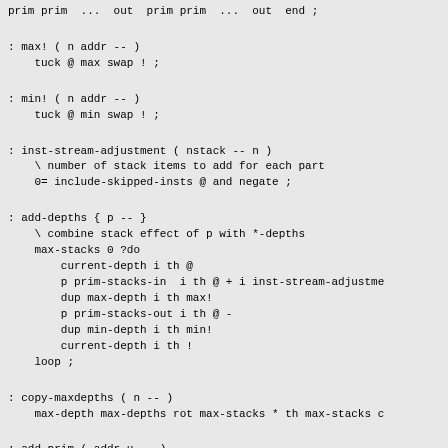prim prim  ...  out  prim prim  ...  out  end ;